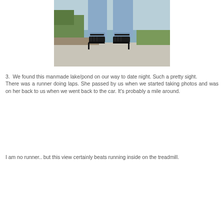[Figure (photo): Close-up photo of a person's legs wearing light blue jeans and black strappy high heels, standing on a concrete path next to a body of water with green grass in the background.]
3.  We found this manmade lake/pond on our way to date night. Such a pretty sight.
There was a runner doing laps. She passed by us when we started taking photos and was on her back to us when we went back to the car. It's probably a mile around.
I am no runner.. but this view certainly beats running inside on the treadmill.